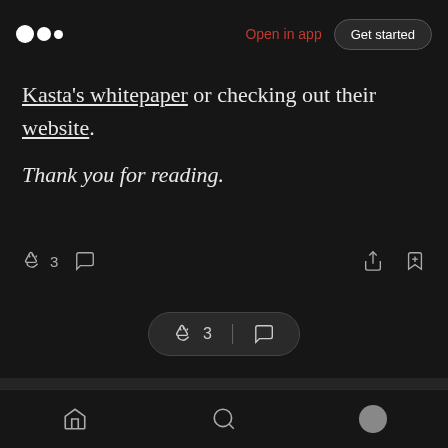[Figure (screenshot): Medium app top navigation bar with logo, 'Open in app' link in red, and 'Get started' button]
Kasta's whitepaper or checking out their website.
Thank you for reading.
[Figure (screenshot): Article interaction bar with clap icon (3 claps), comment icon, share icon, and bookmark icon]
[Figure (screenshot): Floating pill bar with clap icon, count 3, divider, and comment icon]
More from Crypto Hunters Official
[Figure (screenshot): Bottom navigation bar with home, search, and profile icons]